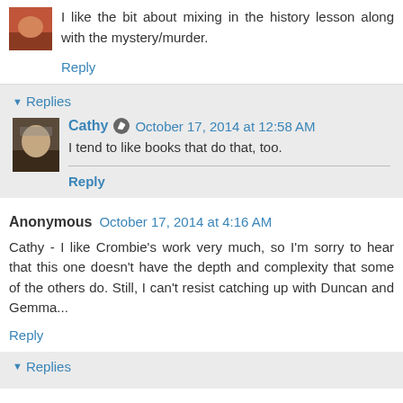I like the bit about mixing in the history lesson along with the mystery/murder.
Reply
Replies
Cathy  October 17, 2014 at 12:58 AM
I tend to like books that do that, too.
Reply
Anonymous  October 17, 2014 at 4:16 AM
Cathy - I like Crombie's work very much, so I'm sorry to hear that this one doesn't have the depth and complexity that some of the others do. Still, I can't resist catching up with Duncan and Gemma...
Reply
Replies